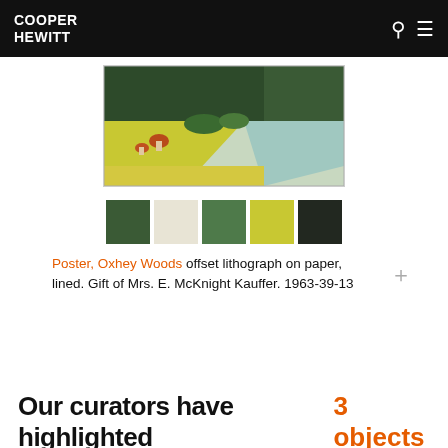COOPER HEWITT
[Figure (photo): Partial view of Oxhey Woods poster artwork showing a colorful landscape with mushrooms, trees, and a path, in green, yellow, and blue tones.]
[Figure (other): Five color swatches extracted from the poster: dark green, cream/beige, medium green, yellow-green, near black]
Poster, Oxhey Woods offset lithograph on paper, lined. Gift of Mrs. E. McKnight Kauffer. 1963-39-13
Our curators have highlighted 3 objects